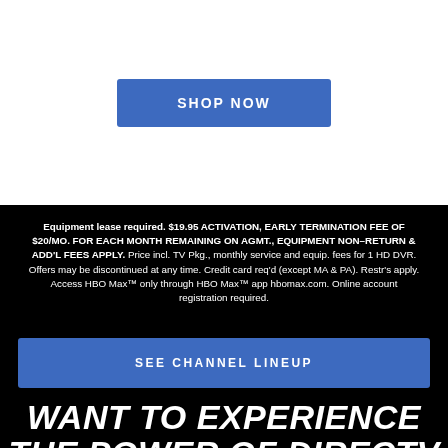[Figure (other): White section with a blue 'SHOP NOW' button]
Equipment lease required. $19.95 ACTIVATION, EARLY TERMINATION FEE OF $20/MO. FOR EACH MONTH REMAINING ON AGMT., EQUIPMENT NON-RETURN & ADD'L FEES APPLY. Price incl. TV Pkg., monthly service and equip. fees for 1 HD DVR. Offers may be discontinued at any time. Credit card req'd (except MA & PA). Restr's apply. Access HBO Max™ only through HBO Max™ app hbomax.com. Online account registration required.
[Figure (other): Blue 'SEE CHANNEL LINEUP' button on black background]
WANT TO EXPERIENCE THE POWER OF DIRECTV